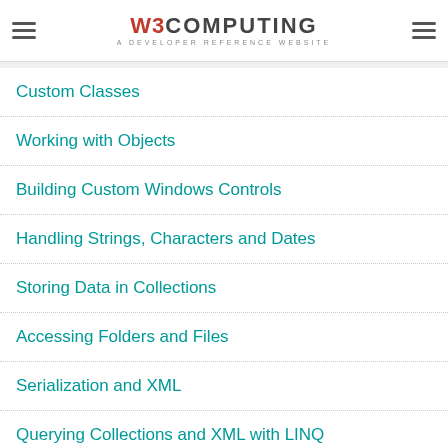W3COMPUTING A DEVELOPER REFERENCE WEBSITE
Custom Classes
Working with Objects
Building Custom Windows Controls
Handling Strings, Characters and Dates
Storing Data in Collections
Accessing Folders and Files
Serialization and XML
Querying Collections and XML with LINQ
Drawing and Painting